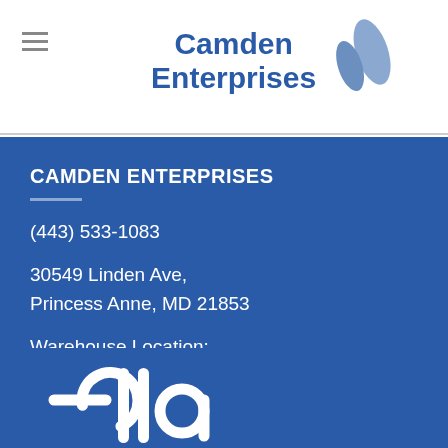[Figure (logo): Camden Enterprises logo with blue text and two blue leaf/drop shapes to the right]
CAMDEN ENTERPRISES
(443) 533-1083
30549 Linden Ave,
Princess Anne, MD 21853
Warehouse Location:
Annapolis, MD 21403
[Figure (logo): Ella logo in white on blue background, partial view at bottom]